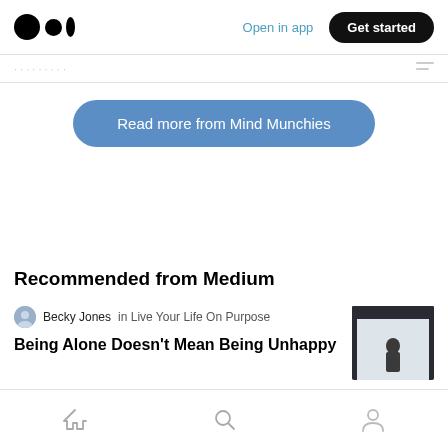Medium logo | Open in app | Get started
Read more from Mind Munchies
Recommended from Medium
Becky Jones in Live Your Life On Purpose
Being Alone Doesn't Mean Being Unhappy
[Figure (photo): Silhouette of a person standing alone in a window or doorway]
Home | Search | Profile navigation icons